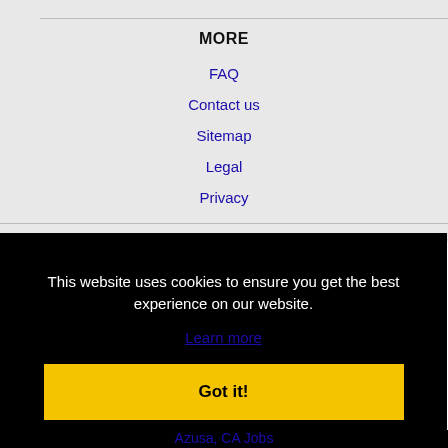MORE
FAQ
Contact us
Sitemap
Legal
Privacy
This website uses cookies to ensure you get the best experience on our website.
Learn more
Got it!
Azusa, CA Jobs